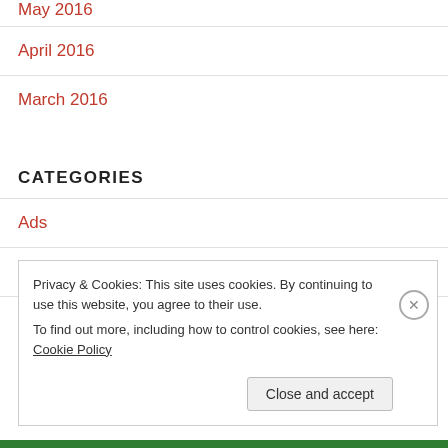May 2016
April 2016
March 2016
CATEGORIES
Ads
calf
Privacy & Cookies: This site uses cookies. By continuing to use this website, you agree to their use.
To find out more, including how to control cookies, see here: Cookie Policy
Close and accept